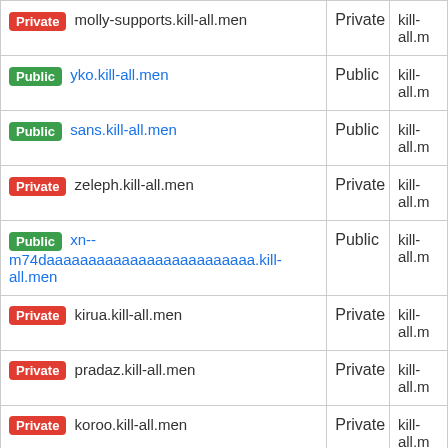| Repository | Visibility | Owner |
| --- | --- | --- |
| Private molly-supports.kill-all.men | Private | kill-all.m |
| Public yko.kill-all.men | Public | kill-all.m |
| Public sans.kill-all.men | Public | kill-all.m |
| Private zeleph.kill-all.men | Private | kill-all.m |
| Public xn--m74daaaaaaaaaaaaaaaaaaaaaaaaa.kill-all.men | Public | kill-all.m |
| Private kirua.kill-all.men | Private | kill-all.m |
| Private pradaz.kill-all.men | Private | kill-all.m |
| Private koroo.kill-all.men | Private | kill-all.m |